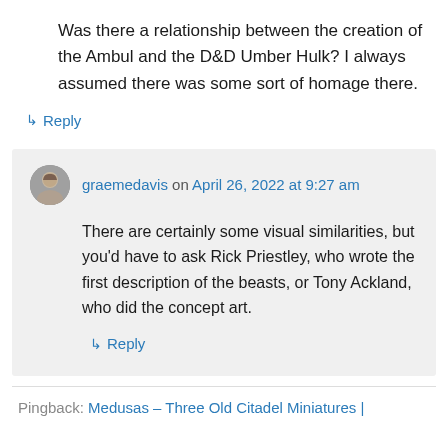Was there a relationship between the creation of the Ambul and the D&D Umber Hulk? I always assumed there was some sort of homage there.
↳ Reply
graemedavis on April 26, 2022 at 9:27 am
There are certainly some visual similarities, but you'd have to ask Rick Priestley, who wrote the first description of the beasts, or Tony Ackland, who did the concept art.
↳ Reply
Pingback: Medusas – Three Old Citadel Miniatures |